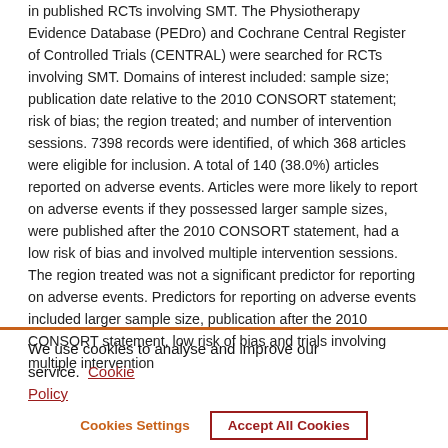in published RCTs involving SMT. The Physiotherapy Evidence Database (PEDro) and Cochrane Central Register of Controlled Trials (CENTRAL) were searched for RCTs involving SMT. Domains of interest included: sample size; publication date relative to the 2010 CONSORT statement; risk of bias; the region treated; and number of intervention sessions. 7398 records were identified, of which 368 articles were eligible for inclusion. A total of 140 (38.0%) articles reported on adverse events. Articles were more likely to report on adverse events if they possessed larger sample sizes, were published after the 2010 CONSORT statement, had a low risk of bias and involved multiple intervention sessions. The region treated was not a significant predictor for reporting on adverse events. Predictors for reporting on adverse events included larger sample size, publication after the 2010 CONSORT statement, low risk of bias and trials involving multiple intervention sessions…
We use cookies to analyse and improve our service. Cookie Policy